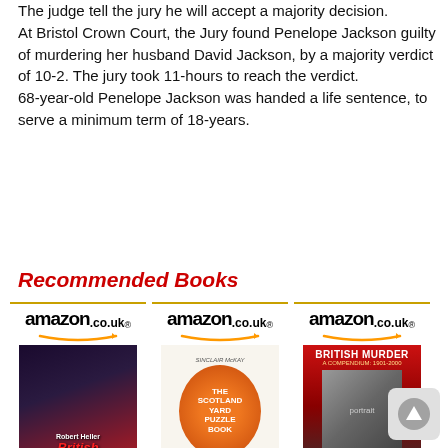The judge tell the jury he will accept a majority decision.
At Bristol Crown Court, the Jury found Penelope Jackson guilty of murdering her husband David Jackson, by a majority verdict of 10-2. The jury took 11-hours to reach the verdict. 68-year-old Penelope Jackson was handed a life sentence, to serve a minimum term of 18-years.
<< Back
Recommended Books
[Figure (other): Three Amazon.co.uk book listings showing book covers: 'British Monsters Volume One' by Robert Heller, 'The Scotland Yard Puzzle Book' by Sinclair McKay, and 'British Murder: A Compendium 1901-2000']